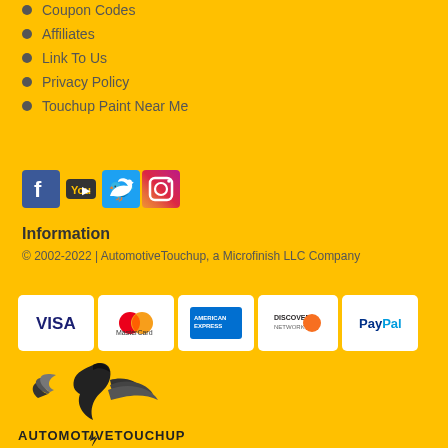Coupon Codes
Affiliates
Link To Us
Privacy Policy
Touchup Paint Near Me
[Figure (infographic): Social media icons: Facebook, YouTube, Twitter, Instagram]
Information
© 2002-2022 | AutomotiveTouchup, a Microfinish LLC Company
[Figure (infographic): Payment method icons: Visa, MasterCard, American Express, Discover, PayPal]
[Figure (logo): AutomotiveTouchup logo with winged figure]